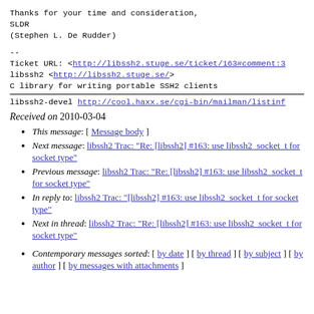Thanks for your time and consideration,
SLDR
(Stephen L. De Rudder)
--
Ticket URL: <http://libssh2.stuge.se/ticket/163#comment:3>
libssh2 <http://libssh2.stuge.se/>
C library for writing portable SSH2 clients
libssh2-devel http://cool.haxx.se/cgi-bin/mailman/listinfo
Received on 2010-03-04
This message: [ Message body ]
Next message: libssh2 Trac: "Re: [libssh2] #163: use libssh2_socket_t for socket type"
Previous message: libssh2 Trac: "Re: [libssh2] #163: use libssh2_socket_t for socket type"
In reply to: libssh2 Trac: "[libssh2] #163: use libssh2_socket_t for socket type"
Next in thread: libssh2 Trac: "Re: [libssh2] #163: use libssh2_socket_t for socket type"
Contemporary messages sorted: [ by date ] [ by thread ] [ by subject ] [ by author ] [ by messages with attachments ]